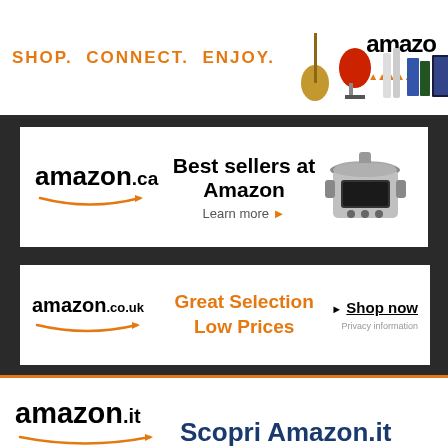[Figure (screenshot): Amazon ad banner: SHOP. CONNECT. ENJOY. with product images and Amazon logo]
[Figure (screenshot): Amazon.ca ad: Best sellers at Amazon, Learn more, with instant pot image]
[Figure (screenshot): Amazon.co.uk ad: Great Selection Low Prices, Shop now, Privacy information]
[Figure (screenshot): Amazon.it ad: Scopri Amazon.it]
Music Provided by Rich Banks
Check out His Website and Soundcloud to hear more of commission him for your next project.